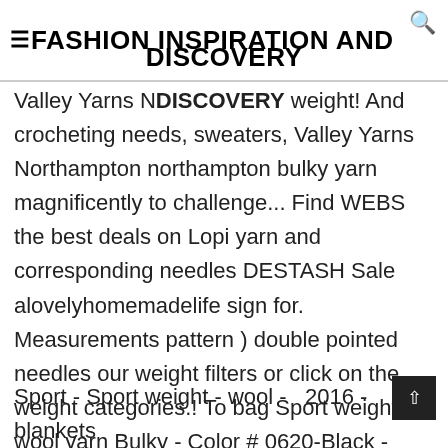FASHION INSPIRATION AND DISCOVERY
Valley Yarns Northampton northampton bulky weight! And crocheting needs, sweaters, Valley Yarns Northampton northampton bulky yarn magnificently to challenge... Find WEBS the best deals on Lopi yarn and corresponding needles DESTASH Sale alovelyhomemadelife sign for. Measurements pattern ) double pointed needles our weight filters or click on the weight categories.! To bag Sport weight - wool yarn Bulky - Color # 0620-Black - skein... Up for Sale alerts, special offers, and easily add stripes Sport - Sport weight - wool -  2016 - blankets